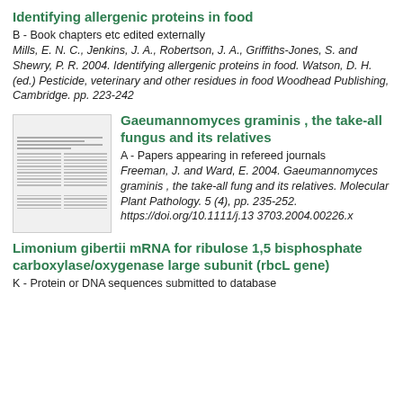Identifying allergenic proteins in food
B - Book chapters etc edited externally
Mills, E. N. C., Jenkins, J. A., Robertson, J. A., Griffiths-Jones, S. and Shewry, P. R. 2004. Identifying allergenic proteins in food. Watson, D. H. (ed.) Pesticide, veterinary and other residues in food Woodhead Publishing, Cambridge. pp. 223-242
[Figure (other): Thumbnail preview of a journal article page with multiple columns of text]
Gaeumannomyces graminis , the take-all fungus and its relatives
A - Papers appearing in refereed journals
Freeman, J. and Ward, E. 2004. Gaeumannomyces graminis , the take-all fungus and its relatives. Molecular Plant Pathology. 5 (4), pp. 235-252. https://doi.org/10.1111/j.13 3703.2004.00226.x
Limonium gibertii mRNA for ribulose 1,5 bisphosphate carboxylase/oxygenase large subunit (rbcL gene)
K - Protein or DNA sequences submitted to database